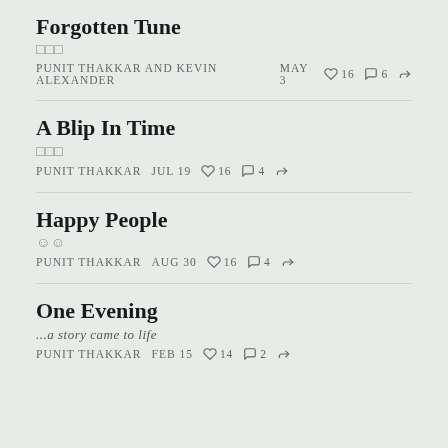Forgotten Tune
□□□
PUNIT THAKKAR AND KEVIN ALEXANDER   MAY 3   ♡ 16   ○ 6   ↪
A Blip In Time
□□□
PUNIT THAKKAR   JUL 19   ♡ 16   ○ 4   ↪
Happy People
☺☺
PUNIT THAKKAR   AUG 30   ♡ 16   ○ 4   ↪
One Evening
...a story came to life
PUNIT THAKKAR   FEB 15   ♡ 14   ○ 2   ↪